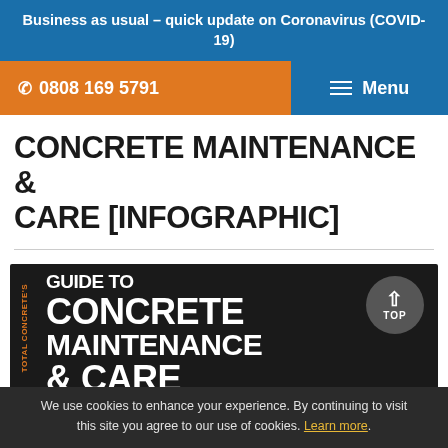Business as usual – quick update on Coronavirus (COVID-19)
0808 169 5791
Menu
CONCRETE MAINTENANCE & CARE [INFOGRAPHIC]
[Figure (infographic): Dark background infographic header image showing 'TOTAL CONCRETE'S GUIDE TO CONCRETE MAINTENANCE & CARE' text in bold white with orange accent, with a 'TOP' scroll button on the right.]
We use cookies to enhance your experience. By continuing to visit this site you agree to our use of cookies. Learn more.